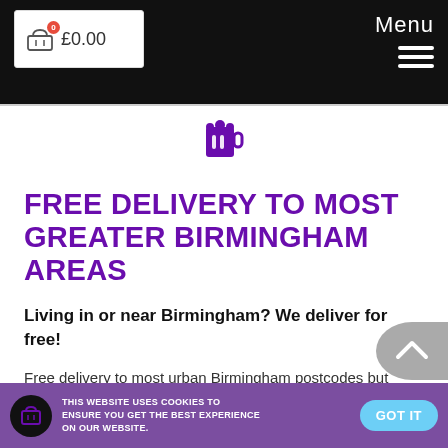£0.00   Menu
[Figure (logo): Two Towers Brewery mug logo in purple, centered in divider area]
FREE DELIVERY TO MOST GREATER BIRMINGHAM AREAS
Living in or near Birmingham? We deliver for free!
Free delivery to most urban Birmingham postcodes but delivery to some locations may incur a charge depending on distance, location and accessibility. In all cases delivery charges are at the discretion of Two Towers Brewery
THIS WEBSITE USES COOKIES TO ENSURE YOU GET THE BEST EXPERIENCE ON OUR WEBSITE.   GOT IT